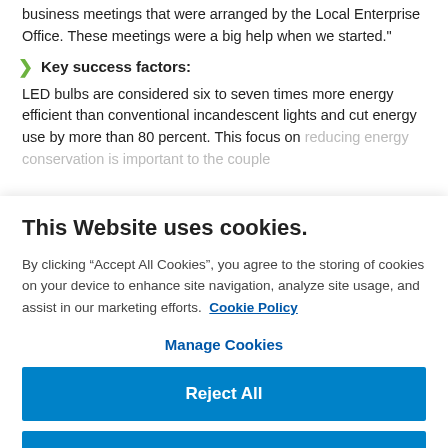business meetings that were arranged by the Local Enterprise Office. These meetings were a big help when we started.”
Key success factors:
LED bulbs are considered six to seven times more energy efficient than conventional incandescent lights and cut energy use by more than 80 percent. This focus on reducing energy conservation is important to the couple
This Website uses cookies.
By clicking “Accept All Cookies”, you agree to the storing of cookies on your device to enhance site navigation, analyze site usage, and assist in our marketing efforts.  Cookie Policy
Manage Cookies
Reject All